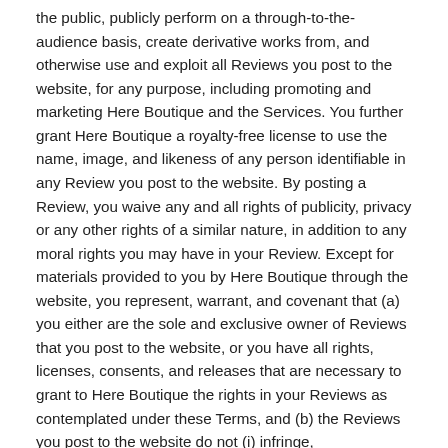the public, publicly perform on a through-to-the-audience basis, create derivative works from, and otherwise use and exploit all Reviews you post to the website, for any purpose, including promoting and marketing Here Boutique and the Services. You further grant Here Boutique a royalty-free license to use the name, image, and likeness of any person identifiable in any Review you post to the website. By posting a Review, you waive any and all rights of publicity, privacy or any other rights of a similar nature, in addition to any moral rights you may have in your Review. Except for materials provided to you by Here Boutique through the website, you represent, warrant, and covenant that (a) you either are the sole and exclusive owner of Reviews that you post to the website, or you have all rights, licenses, consents, and releases that are necessary to grant to Here Boutique the rights in your Reviews as contemplated under these Terms, and (b) the Reviews you post to the website do not (i) infringe, misappropriate or violate the rights of any party or entity, including a third party's patent, copyright, trademark, trade secret, moral rights, rights of publicity, rights of privacy, or the intellectual property or proprietary rights; (ii)